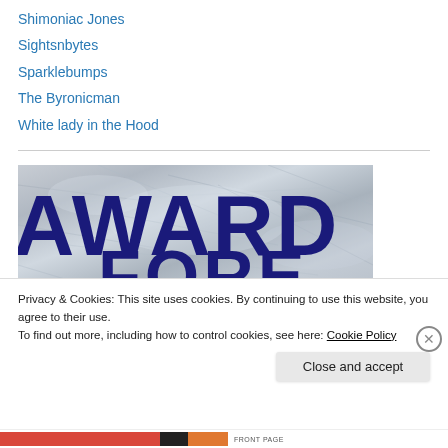Shimoniac Jones
Sightsnbytes
Sparklebumps
The Byronicman
White lady in the Hood
[Figure (photo): Award logo image with large dark blue letters spelling AWARD on a metallic/foil silver background, with partial text below (FORE or similar)]
Privacy & Cookies: This site uses cookies. By continuing to use this website, you agree to their use.
To find out more, including how to control cookies, see here: Cookie Policy
Close and accept